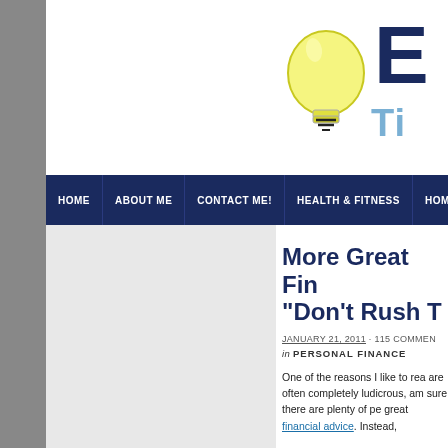[Figure (logo): Website logo with a yellow lightbulb icon and dark blue text 'EV...' with light blue 'TI...' below, partially cropped]
HOME | ABOUT ME | CONTACT ME! | HEALTH & FITNESS | HOM...
More Great Fin... "Don't Rush T...
JANUARY 21, 2011 · 115 COMMENT... in PERSONAL FINANCE
One of the reasons I like to rea... are often completely ludicrous,... am sure there are plenty of pe... great financial advice. Instead,